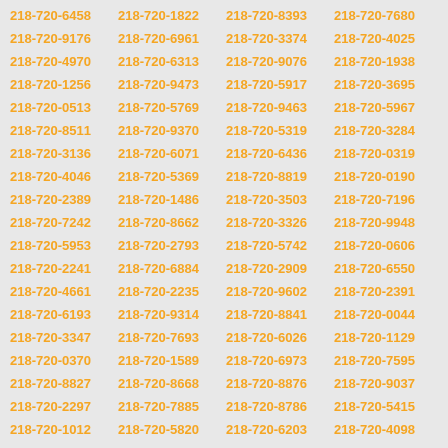218-720-6458, 218-720-1822, 218-720-8393, 218-720-7680, 218-720-9176, 218-720-6961, 218-720-3374, 218-720-4025, 218-720-4970, 218-720-6313, 218-720-9076, 218-720-1938, 218-720-1256, 218-720-9473, 218-720-5917, 218-720-3695, 218-720-0513, 218-720-5769, 218-720-9463, 218-720-5967, 218-720-8511, 218-720-9370, 218-720-5319, 218-720-3284, 218-720-3136, 218-720-6071, 218-720-6436, 218-720-0319, 218-720-4046, 218-720-5369, 218-720-8819, 218-720-0190, 218-720-2389, 218-720-1486, 218-720-3503, 218-720-7196, 218-720-7242, 218-720-8662, 218-720-3326, 218-720-9948, 218-720-5953, 218-720-2793, 218-720-5742, 218-720-0606, 218-720-2241, 218-720-6884, 218-720-2909, 218-720-6550, 218-720-4661, 218-720-2235, 218-720-9602, 218-720-2391, 218-720-6193, 218-720-9314, 218-720-8841, 218-720-0044, 218-720-3347, 218-720-7693, 218-720-6026, 218-720-1129, 218-720-0370, 218-720-1589, 218-720-6973, 218-720-7595, 218-720-8827, 218-720-8668, 218-720-8876, 218-720-9037, 218-720-2297, 218-720-7885, 218-720-8786, 218-720-5415, 218-720-1012, 218-720-5820, 218-720-6203, 218-720-4098, 218-720-8317, 218-720-4762, 218-720-4669, 218-720-5548, 218-720-2217, 218-720-6559, 218-720-3101, 218-720-7570, 218-720-9264, 218-720-7076, 218-720-4196, 218-720-5093, 218-720-3162, 218-720-6528, 218-720-6116, 218-720-6725, 218-720-8297, 218-720-9127, 218-720-6924, 218-720-6682, 218-720-8216, 218-720-9189, 218-720-1031, 218-720-5892, 218-720-7522, 218-720-9118, 218-720-9073, 218-720-0136, 218-720-7477, 218-720-3043, 218-720-6148, 218-720-0615, 218-720-8962, 218-720-3629, 218-720-0074, 218-720-2596, 218-720-3310, 218-720-6744, 218-720-0484, 218-720-4189, 218-720-2949, 218-720-7130, 218-720-7040, 218-720-6804